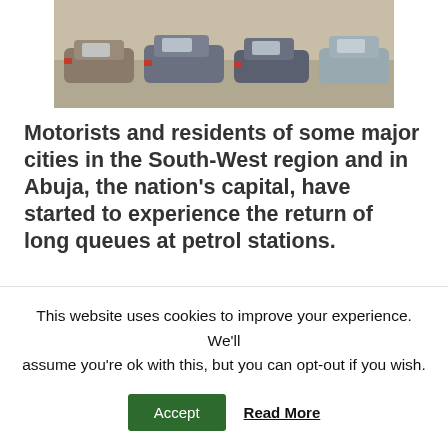[Figure (photo): Cars lined up at a petrol station, showing queues of vehicles]
Motorists and residents of some major cities in the South-West region and in Abuja, the nation's capital, have started to experience the return of long queues at petrol stations.
Although the situation was different in the South-East states as fuel and gas are available in the petrol stations, they sell above the Federal Government's approved pump price.
This website uses cookies to improve your experience. We'll assume you're ok with this, but you can opt-out if you wish. Accept Read More